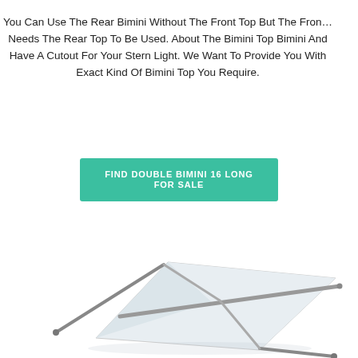You Can Use The Rear Bimini Without The Front Top But The Front Needs The Rear Top To Be Used. About The Bimini Top Bimini And Have A Cutout For Your Stern Light. We Want To Provide You With Exact Kind Of Bimini Top You Require.
FIND DOUBLE BIMINI 16 LONG FOR SALE
[Figure (photo): A white Bimini top canopy with metal support poles/frame, viewed from above at an angle, showing the fabric stretched across the frame structure.]